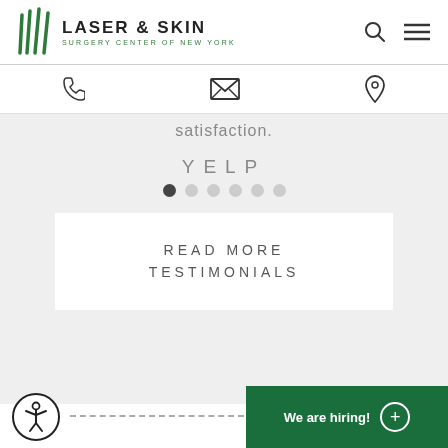[Figure (logo): Laser & Skin Surgery Center of New York logo with green vertical lines icon and text]
[Figure (infographic): Navigation icons: search magnifier and hamburger menu]
[Figure (infographic): Contact bar with phone icon, envelope/mail icon, and location pin icon]
satisfaction.
YELP
[Figure (infographic): Carousel pagination dots: 6 dots, first one active (dark), rest light gray]
READ MORE TESTIMONIALS
[Figure (infographic): Accessibility icon button (person in circle), dashed horizontal line, and green 'We are hiring!' bar with plus circle button]